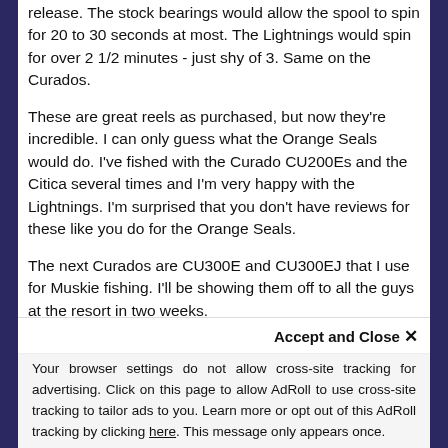release. The stock bearings would allow the spool to spin for 20 to 30 seconds at most. The Lightnings would spin for over 2 1/2 minutes - just shy of 3. Same on the Curados.
These are great reels as purchased, but now they're incredible. I can only guess what the Orange Seals would do. I've fished with the Curado CU200Es and the Citica several times and I'm very happy with the Lightnings. I'm surprised that you don't have reviews for these like you do for the Orange Seals.
The next Curados are CU300E and CU300EJ that I use for Muskie fishing. I'll be showing them off to all the guys at the resort in two weeks.
Thanks for the great product and perfect web site.
Dan Petersen
[Figure (other): Five yellow star rating]
Reviewer: Bruce
Date: 5/7/2012
Accept and Close ×
Your browser settings do not allow cross-site tracking for advertising. Click on this page to allow AdRoll to use cross-site tracking to tailor ads to you. Learn more or opt out of this AdRoll tracking by clicking here. This message only appears once.
Boca bearing are a great bunch of people to work with.